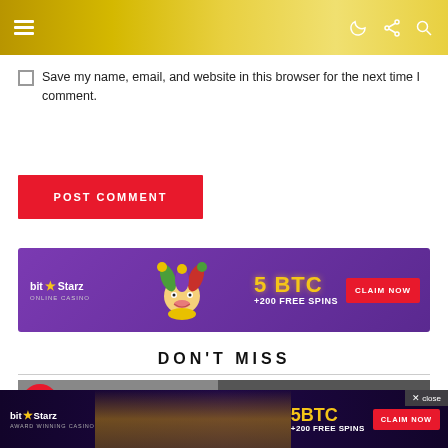Navigation header with menu icon and icons (dark mode, share, search)
Save my name, email, and website in this browser for the next time I comment.
POST COMMENT
[Figure (other): BitStarz Online Casino banner ad: bit★Starz logo, jester character, '5 BTC +200 FREE SPINS', CLAIM NOW button on purple background]
DON'T MISS
BitStarz Award Winning Casino banner ad: bit★Starz logo, Egyptian/cowboy imagery, '5BTC +200 FREE SPINS', CLAIM NOW button. Close button top right.